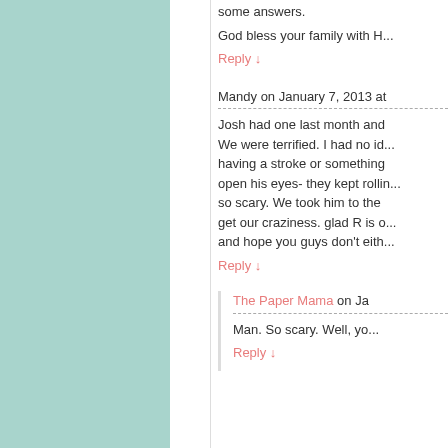some answers.
God bless your family with H...
Reply ↓
Mandy on January 7, 2013 at...
Josh had one last month and... We were terrified. I had no id... having a stroke or something... open his eyes- they kept rollin... so scary. We took him to the... get our craziness. glad R is o... and hope you guys don't eith...
Reply ↓
The Paper Mama on Ja...
Man. So scary. Well, yo...
Reply ↓